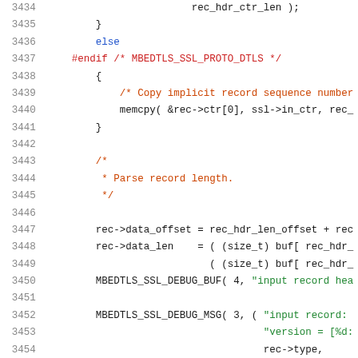[Figure (screenshot): Source code listing in C showing lines 3434-3454 of an SSL/TLS implementation with syntax highlighting. Line numbers in gray on the left, code in dark with colored highlights for keywords, comments (orange-red), strings (green), and preprocessor directives (red).]